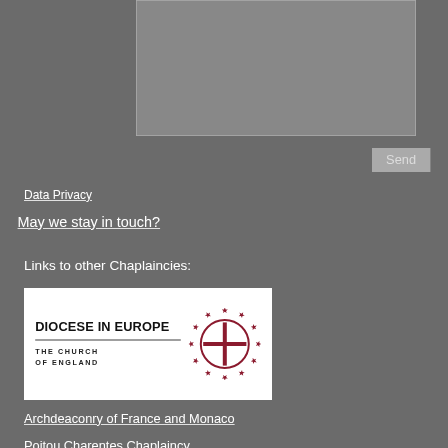[Figure (screenshot): A grey text area input box at the top of the page]
Send
Data Privacy
May we stay in touch?
Links to other Chaplaincies:
[Figure (logo): Diocese in Europe - The Church of England logo with a circular emblem featuring a cross surrounded by stars on the right side]
Archdeaconry of France and Monaco
Poitou Charentes Chaplaincy
Aquitaine Chaplaincy
Pau Chaplaincy
©2020 by Anglican Chaplaincy in Midi-Pyrénées & Aude.